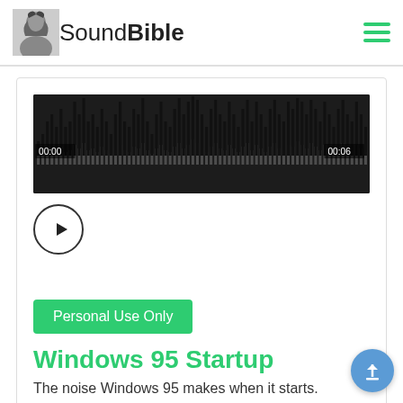[Figure (logo): SoundBible logo with a black-and-white portrait photo next to the text 'SoundBible' in a sans-serif font]
[Figure (screenshot): Audio waveform player showing black waveform bars with a dark background, timestamps 00:00 on the left and 00:06 on the right, and a reflected/mirrored gray waveform below]
[Figure (other): Circular play button with a triangle play icon]
Personal Use Only
Windows 95 Startup
The noise Windows 95 makes when it starts.